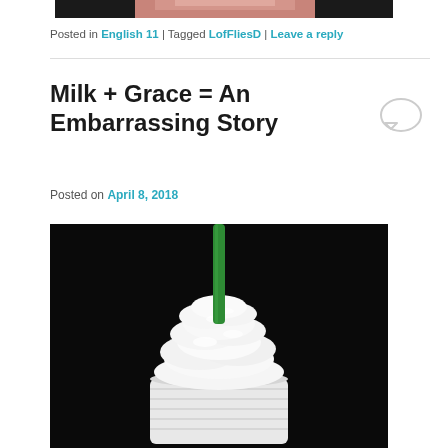[Figure (photo): Partial photo at top of page, appears to be a person]
Posted in English 11 | Tagged LofFliesD | Leave a reply
[Figure (photo): Photo of a Starbucks Frappuccino with whipped cream and a green straw on a black background]
Milk + Grace = An Embarrassing Story
Posted on April 8, 2018